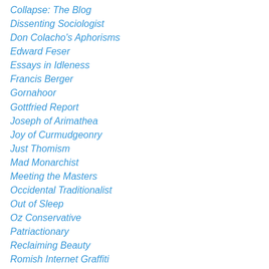Collapse: The Blog
Dissenting Sociologist
Don Colacho's Aphorisms
Edward Feser
Essays in Idleness
Francis Berger
Gornahoor
Gottfried Report
Joseph of Arimathea
Joy of Curmudgeonry
Just Thomism
Mad Monarchist
Meeting the Masters
Occidental Traditionalist
Out of Sleep
Oz Conservative
Patriactionary
Reclaiming Beauty
Romish Internet Graffiti
Rorate Caeli